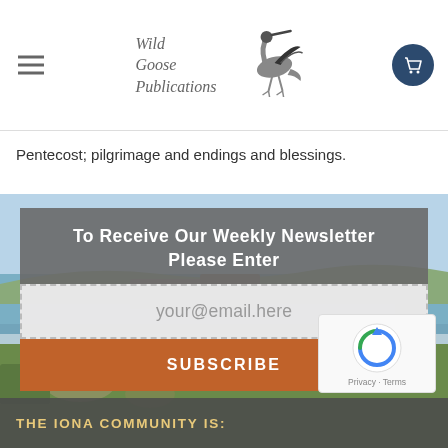Wild Goose Publications
Pentecost; pilgrimage and endings and blessings.
[Figure (photo): Outdoor scene with water, coastal landscape, wooden structures and vegetation in the background]
To Receive Our Weekly Newsletter Please Enter
your@email.here
SUBSCRIBE
[Figure (logo): Google reCAPTCHA badge with Privacy and Terms links]
THE IONA COMMUNITY IS: